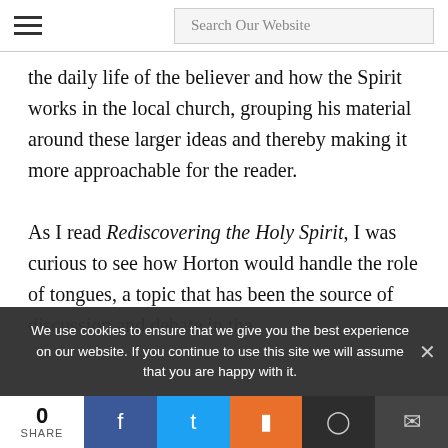Search Our Website
the daily life of the believer and how the Spirit works in the local church, grouping his material around these larger ideas and thereby making it more approachable for the reader.
As I read Rediscovering the Holy Spirit, I was curious to see how Horton would handle the role of tongues, a topic that has been the source of discussion and debate in the
We use cookies to ensure that we give you the best experience on our website. If you continue to use this site we will assume that you are happy with it.
0 SHARE | Facebook | Twitter | Mix | Reddit | Email